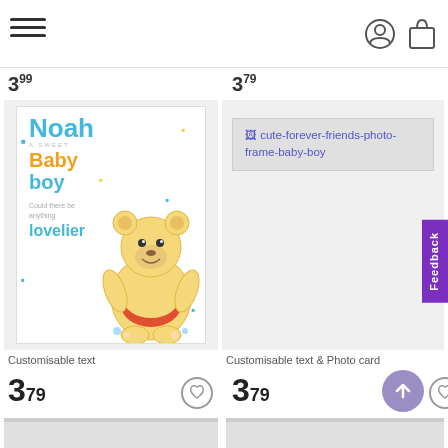Navigation header with user icon and shopping bag icon
3.99 (truncated price, left product)
3.79 (truncated price, right product)
[Figure (photo): Winnie the Pooh baby boy greeting card with name Noah, A Sweet Baby Boy text, could there be anything lovelier, decorative dots and flowers]
[Figure (photo): Broken image placeholder for cute-forever-friends-photo-frame-baby-boy product]
Customisable text
Customisable text & Photo card
3.79
3.79